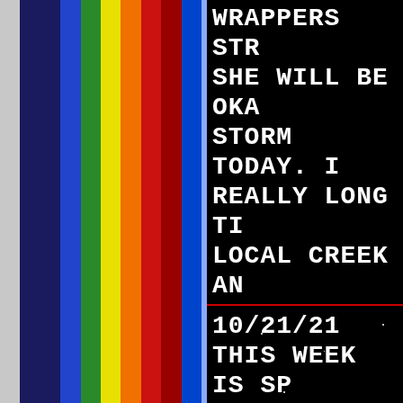[Figure (illustration): Rainbow vertical stripes panel on the left side of the page with colors: white/silver, dark navy, blue, green, yellow, orange, red, dark red, blue stripe, repeated pattern]
WRAPPERS STR... SHE WILL BE OKA... STORM TODAY. I... REALLY LONG TI... LOCAL CREEK AN... OVERFLOWING! CA... WAS CRAZY. I LO... PERFECT TO SIT ... TEA AND A FIRE
10/21/21
THIS WEEK IS SP...
ANYTHING BUT 🌈